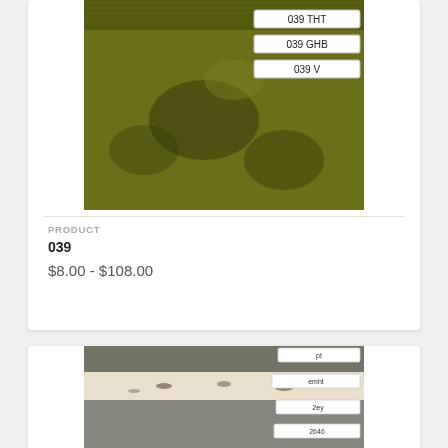[Figure (photo): Fabric swatch showing olive/yellow-green texture with three label badges: 039 THT, 039 GHB, 039 V]
PRODUCT
039
$8.00 - $108.00
[Figure (photo): Fabric swatch showing multiple fabric layers: a grey micro-check, cream/white with dark spots, and dark grey texture, with small label badges]